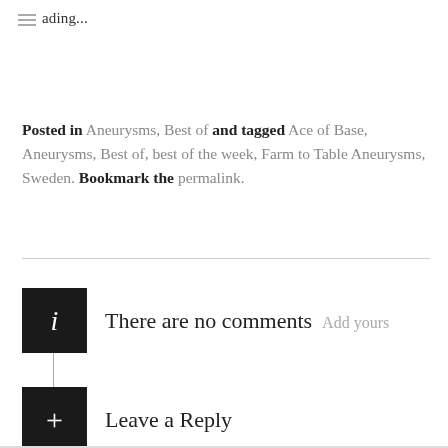loading...
Posted in Aneurysms, Best of and tagged Ace of Base, Aneurysms, Best of, best of the week, Farm to Table Aneurysms, Sweden. Bookmark the permalink.
There are no comments  Add yours
Leave a Reply